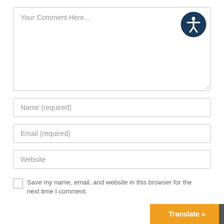Your Comment Here...
[Figure (illustration): Accessibility icon: dark blue circle with white human figure silhouette in center]
Name (required)
Email (required)
Website
Save my name, email, and website in this browser for the next time I comment.
Translate »